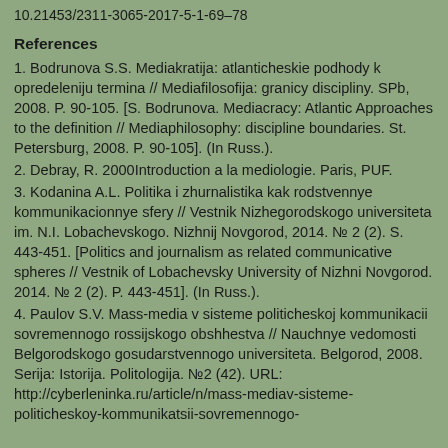10.21453/2311-3065-2017-5-1-69–78
References
1. Bodrunova S.S. Mediakratija: atlanticheskie podhody k opredeleniju termina // Mediafilosofija: granicy discipliny. SPb, 2008. P. 90-105. [S. Bodrunova. Mediacracy: Atlantic Approaches to the definition // Mediaphilosophy: discipline boundaries. St. Petersburg, 2008. P. 90-105]. (In Russ.).
2. Debray, R. 2000Introduction a la mediologie. Paris, PUF.
3. Kodanina A.L. Politika i zhurnalistika kak rodstvennye kommunikacionnye sfery // Vestnik Nizhegorodskogo universiteta im. N.I. Lobachevskogo. Nizhnij Novgorod, 2014. № 2 (2). S. 443-451. [Politics and journalism as related communicative spheres // Vestnik of Lobachevsky University of Nizhni Novgorod. 2014. № 2 (2). P. 443-451]. (In Russ.).
4. Paulov S.V. Mass-media v sisteme politicheskoj kommunikacii sovremennogo rossijskogo obshhestva // Nauchnye vedomosti Belgorodskogo gosudarstvennogo universiteta. Belgorod, 2008. Serija: Istorija. Politologija. №2 (42). URL: http://cyberleninka.ru/article/n/mass-mediav-sisteme-politicheskoy-kommunikatsii-sovremennogo-